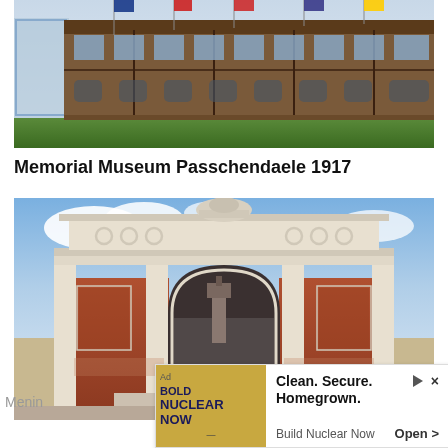[Figure (photo): Exterior of Memorial Museum Passchendaele 1917 building — a large half-timbered historic structure with flags on the facade and a modern glass extension on the left, surrounded by green lawn.]
Memorial Museum Passchendaele 1917
[Figure (photo): The Menin Gate memorial in Ypres, Belgium — a large neoclassical arch monument in red brick and white stone with a lion sculpture on top, with a street and Cloth Hall tower visible through the arch.]
Menin
[Figure (other): Advertisement banner: 'Ad — BOLD NUCLEAR NOW — Clean. Secure. Homegrown. / Build Nuclear Now — Open >']